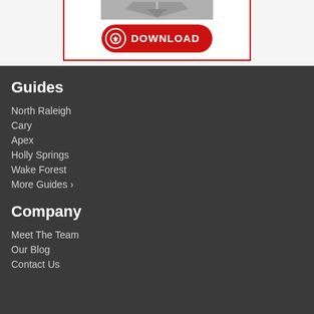[Figure (illustration): Download button with red border box, grey icon area on top and a red rounded download button with circle arrow icon and DOWNLOAD text]
Guides
North Raleigh
Cary
Apex
Holly Springs
Wake Forest
More Guides >
Company
Meet The Team
Our Blog
Contact Us